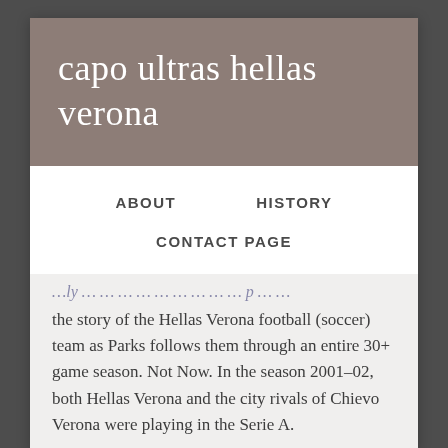capo ultras hellas verona
ABOUT    HISTORY    CONTACT PAGE
the story of the Hellas Verona football (soccer) team as Parks follows them through an entire 30+ game season. Not Now. In the season 2001–02, both Hellas Verona and the city rivals of Chievo Verona were playing in the Serie A.